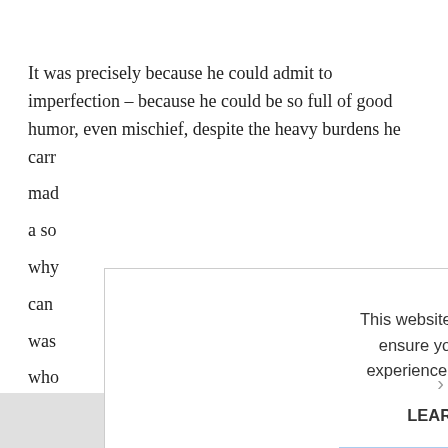It was precisely because he could admit to imperfection – because he could be so full of good humor, even mischief, despite the heavy burdens he carr... mad... a so... why... can... was... who... and... wha... histo...
[Figure (screenshot): A cookie consent modal dialog overlaid on the main page text. The modal contains: 'This website uses cookies to ensure you get the best experience on our website.' followed by 'LEARN MORE.' in bold, and an 'ACCEPT COOKIES' button with a light blue background. A close (×) button appears in the top-right of the modal.]